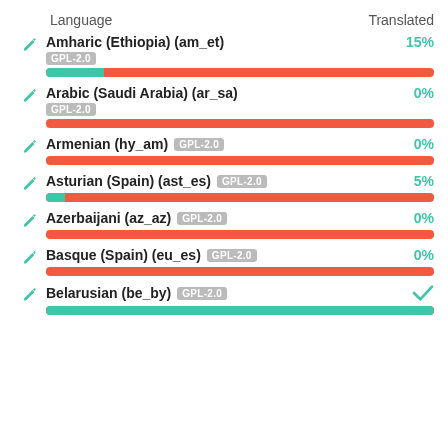| Language | Translated |
| --- | --- |
| Amharic (Ethiopia) (am_et) GPL-2.0 | 15% |
| Arabic (Saudi Arabia) (ar_sa) GPL-2.0 | 0% |
| Armenian (hy_am) GPL-2.0 | 0% |
| Asturian (Spain) (ast_es) GPL-2.0 | 5% |
| Azerbaijani (az_az) GPL-2.0 | 0% |
| Basque (Spain) (eu_es) GPL-2.0 | 0% |
| Belarusian (be_by) GPL-2.0 | ✓ |